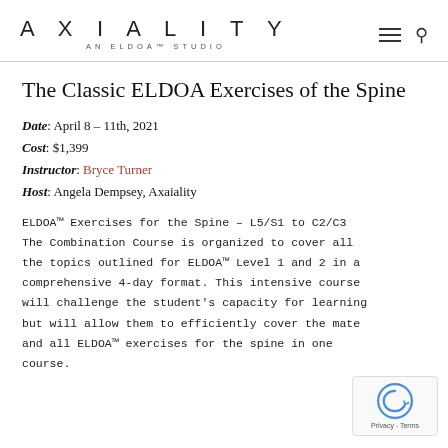AXIA LIT Y — AN ELDOA™ STUDIO
The Classic ELDOA Exercises of the Spine
Date: April 8 – 11th, 2021
Cost: $1,399
Instructor: Bryce Turner
Host: Angela Dempsey, Axaiality
ELDOA™ Exercises for the Spine – L5/S1 to C2/C3 The Combination Course is organized to cover all the topics outlined for ELDOA™ Level 1 and 2 in a comprehensive 4-day format. This intensive course will challenge the student's capacity for learning but will allow them to efficiently cover the material and all ELDOA™ exercises for the spine in one course.